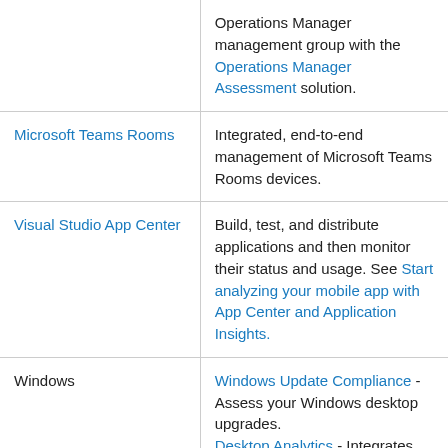| Feature | Description |
| --- | --- |
|  | Operations Manager management group with the Operations Manager Assessment solution. |
| Microsoft Teams Rooms | Integrated, end-to-end management of Microsoft Teams Rooms devices. |
| Visual Studio App Center | Build, test, and distribute applications and then monitor their status and usage. See Start analyzing your mobile app with App Center and Application Insights. |
| Windows | Windows Update Compliance - Assess your Windows desktop upgrades. Desktop Analytics - Integrates with Configuration Manager to provide insight and |